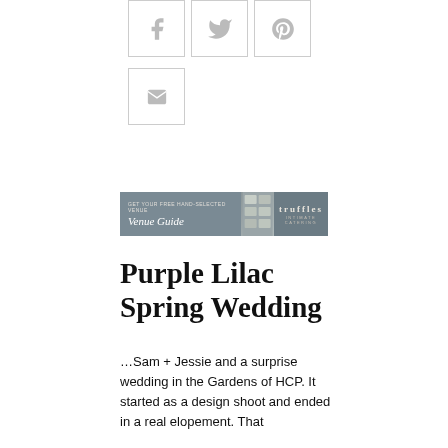[Figure (other): Social media share buttons: Facebook, Twitter, Pinterest icons in bordered squares]
[Figure (other): Email share button with envelope icon in bordered square]
[Figure (other): Truffles wedding venue guide banner advertisement]
Purple Lilac Spring Wedding
...Sam + Jessie and a surprise wedding in the Gardens of HCP. It started as a design shoot and ended in a real elopement. That